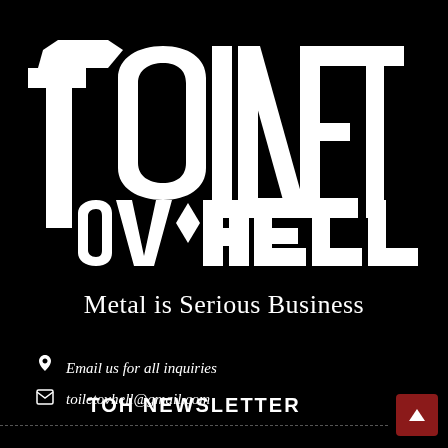[Figure (logo): Toilet Ov Hell logo in white on black background, stylized metal font]
Metal is Serious Business
Email us for all inquiries
toiletovhell@gmail.com
TOH NEWSLETTER